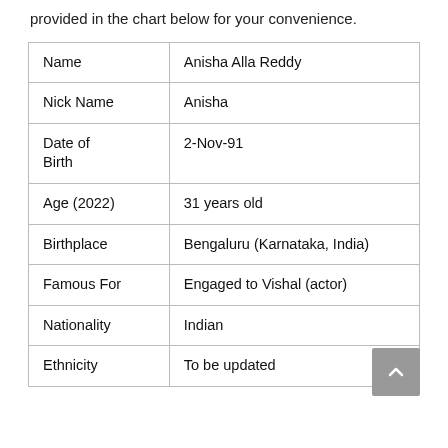provided in the chart below for your convenience.
| Field | Value |
| --- | --- |
| Name | Anisha Alla Reddy |
| Nick Name | Anisha |
| Date of Birth | 2-Nov-91 |
| Age (2022) | 31 years old |
| Birthplace | Bengaluru (Karnataka, India) |
| Famous For | Engaged to Vishal (actor) |
| Nationality | Indian |
| Ethnicity | To be updated |